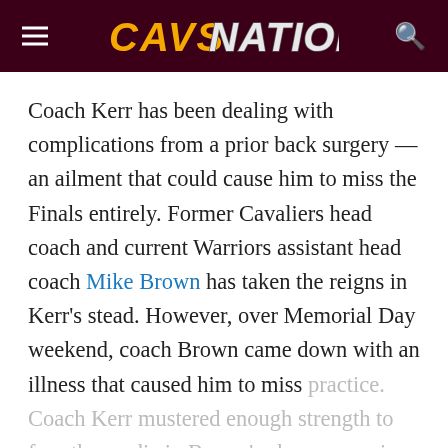CAVS NATION
Coach Kerr has been dealing with complications from a prior back surgery — an ailment that could cause him to miss the Finals entirely. Former Cavaliers head coach and current Warriors assistant head coach Mike Brown has taken the reigns in Kerr's stead. However, over Memorial Day weekend, coach Brown came down with an illness that caused him to miss practice. Coach Kerr mustered enough strength to face the media in Brown's absence, saying: